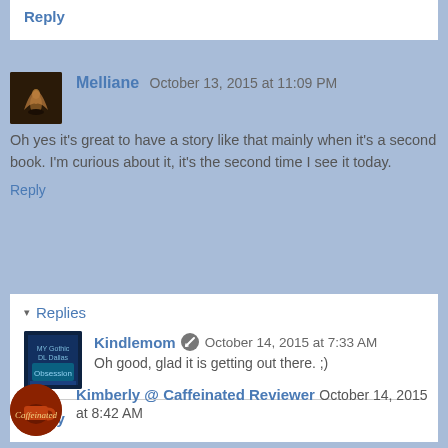Reply
Melliane  October 13, 2015 at 11:09 PM
Oh yes it's great to have a story like that mainly when it's a second book. I'm curious about it, it's the second time I see it today.
Reply
▾ Replies
Kindlemom  October 14, 2015 at 7:33 AM
Oh good, glad it is getting out there. ;)
Reply
Kimberly @ Caffeinated Reviewer  October 14, 2015 at 8:42 AM